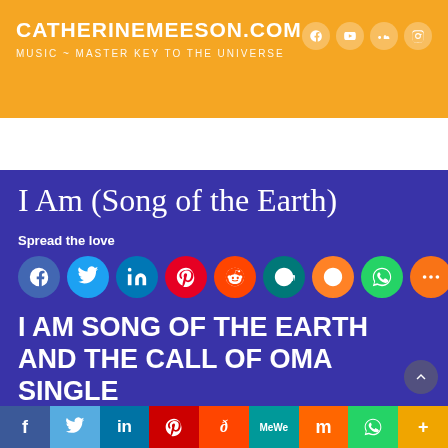CATHERINEMEESON.COM
MUSIC ~ MASTER KEY TO THE UNIVERSE
MENU
I Am (Song of the Earth)
Spread the love
[Figure (infographic): Row of social sharing icon circles: Facebook, Twitter, LinkedIn, Pinterest, Reddit, MeWe, Mix, WhatsApp, More]
I AM SONG OF THE EARTH AND THE CALL OF OMA SINGLE
f  Twitter  in  Pinterest  Reddit  MeWe  Mix  WhatsApp  More